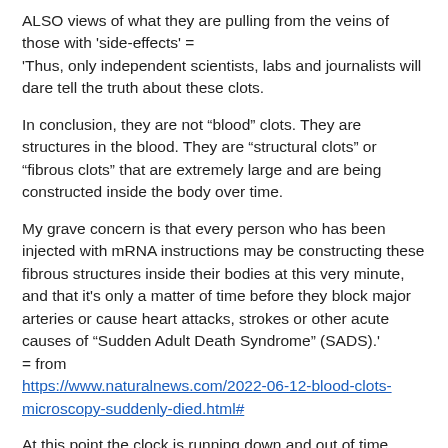ALSO views of what they are pulling from the veins of those with 'side-effects' =
'Thus, only independent scientists, labs and journalists will dare tell the truth about these clots.
In conclusion, they are not “blood” clots. They are structures in the blood. They are “structural clots” or “fibrous clots” that are extremely large and are being constructed inside the body over time.
My grave concern is that every person who has been injected with mRNA instructions may be constructing these fibrous structures inside their bodies at this very minute, and that it's only a matter of time before they block major arteries or cause heart attacks, strokes or other acute causes of “Sudden Adult Death Syndrome” (SADS).'
= from
https://www.naturalnews.com/2022-06-12-blood-clots-microscopy-suddenly-died.html#
At this point the clock is running down and out of time